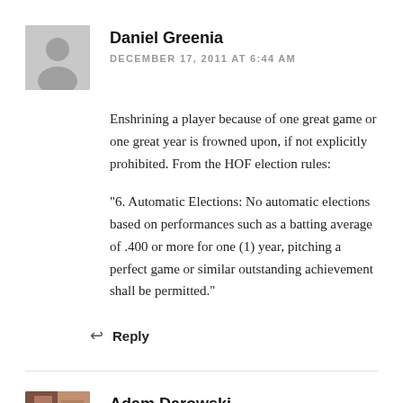Daniel Greenia
DECEMBER 17, 2011 AT 6:44 AM
Enshrining a player because of one great game or one great year is frowned upon, if not explicitly prohibited. From the HOF election rules:
"6. Automatic Elections: No automatic elections based on performances such as a batting average of .400 or more for one (1) year, pitching a perfect game or similar outstanding achievement shall be permitted."
Reply
Adam Darowski